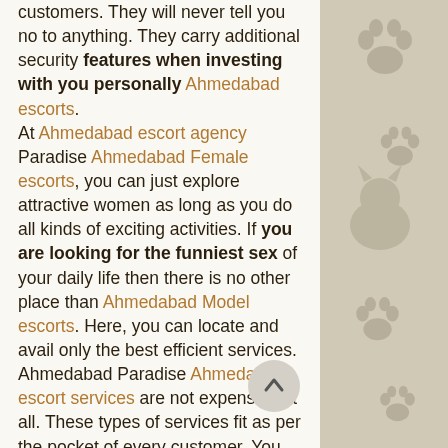customers. They will never tell you no to anything. They carry additional security features when investing with you personally Ahmedabad escorts. At Ahmedabad escort agency Paradise Ahmedabad Female escorts, you can just explore attractive women as long as you do all kinds of exciting activities. If you are looking for the funniest sex of your daily life then there is no other place than Ahmedabad Model escorts. Here, you can locate and avail only the best efficient services. Ahmedabad Paradise Ahmedabad escort services are not expensive at all. These types of services fit as per the pocket of every customer. You usually don't have to take a lot from yourself so don't take the part about the money part. If you are looking for the funniest sex of your daily life then there is no other place than Ahmedabad escort. Here, you can locate and avail only the best efficient services. Catch up